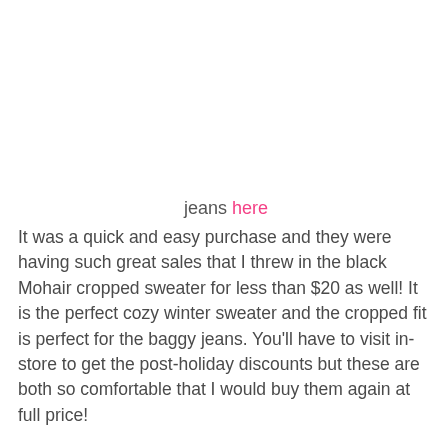jeans here
It was a quick and easy purchase and they were having such great sales that I threw in the black Mohair cropped sweater for less than $20 as well! It is the perfect cozy winter sweater and the cropped fit is perfect for the baggy jeans. You'll have to visit in- store to get the post-holiday discounts but these are both so comfortable that I would buy them again at full price!